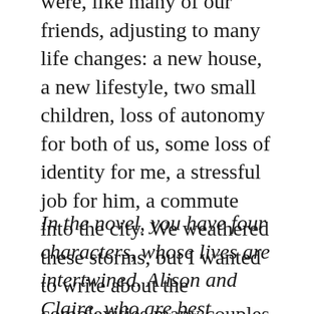were, like many of our friends, adjusting to many life changes: a new house, a new lifestyle, two small children, loss of autonomy for both of us, some loss of identity for me, a stressful job for him, a commute into the city. We weathered these storms, but I wanted to write about the complexities many couples deal with at this stage of their lives, whether or not they come through intact.
In the novel, you have four characters, whose lives are intertwined. Alison and Claire, who are best friends even though Claire is having an affair with Alison's husband, Charlie. You also write about Ben,